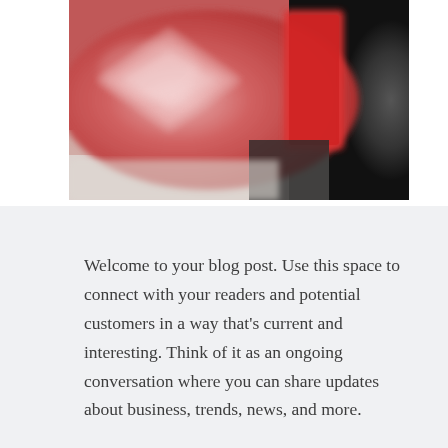[Figure (photo): A blurry photo of red and pink patterned decorative cushions/pillows on what appears to be a surface, with a dark background on the right side.]
Welcome to your blog post. Use this space to connect with your readers and potential customers in a way that's current and interesting. Think of it as an ongoing conversation where you can share updates about business, trends, news, and more.